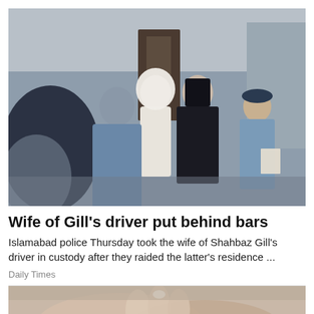[Figure (photo): Indoor scene showing several people standing in a room. A woman in white hijab and a woman in black abaya are visible in the center, accompanied by police officers in blue uniforms. Other people are visible in the background near a door.]
Wife of Gill's driver put behind bars
Islamabad police Thursday took the wife of Shahbaz Gill's driver in custody after they raided the latter's residence ...
Daily Times
[Figure (photo): Close-up photo of hands, partially visible at the bottom of the page, showing a person's hands with manicured nails.]